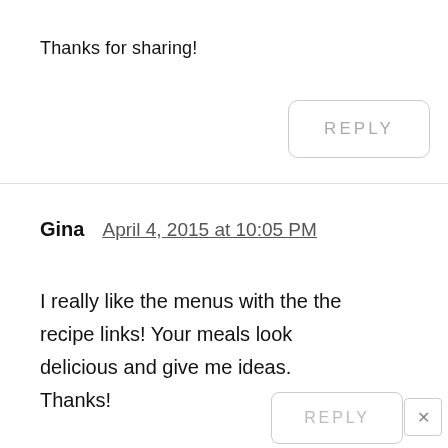Thanks for sharing!
REPLY
Gina   April 4, 2015 at 10:05 PM
I really like the menus with the recipe links! Your meals look delicious and give me ideas. Thanks!
REPLY